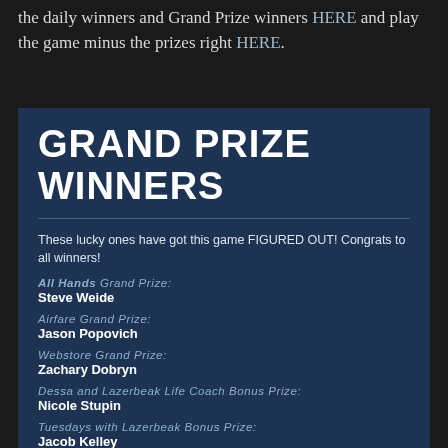the daily winners and Grand Prize winners HERE and play the game minus the prizes right HERE.
GRAND PRIZE WINNERS
These lucky ones have got this game FIGURED OUT! Congrats to all winners!
All Hands Grand Prize: Steve Weide
Airfare Grand Prize: Jason Popovich
Webstore Grand Prize: Zachary Dobryn
Dessa and Lazerbeak Life Coach Bonus Prize: Nicole Stupin
Tuesdays with Lazerbeak Bonus Prize: Jacob Kelley
Voicemail Bonus Prizes: Bryce Fowler
James Herrick